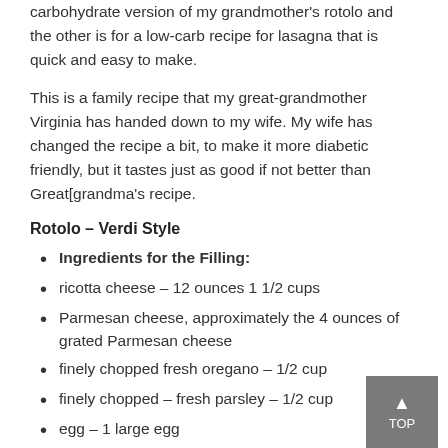carbohydrate version of my grandmother's rotolo and the other is for a low-carb recipe for lasagna that is quick and easy to make.
This is a family recipe that my great-grandmother Virginia has handed down to my wife. My wife has changed the recipe a bit, to make it more diabetic friendly, but it tastes just as good if not better than Great[grandma's recipe.
Rotolo – Verdi Style
Ingredients for the Filling:
ricotta cheese – 12 ounces 1 1/2 cups
Parmesan cheese, approximately the 4 ounces of grated Parmesan cheese
finely chopped fresh oregano – 1/2 cup
finely chopped – fresh parsley – 1/2 cup
egg – 1 large egg